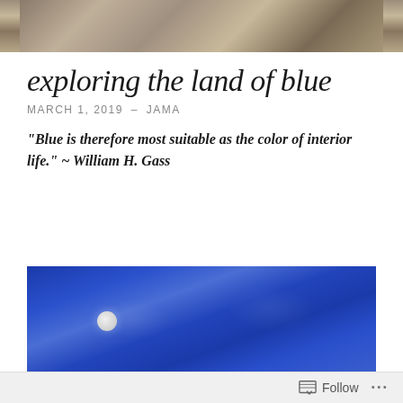[Figure (photo): Partial view of a painting or illustration at the top of the page, showing earth tones with figures.]
exploring the land of blue
MARCH 1, 2019 – JAMA
“Blue is therefore most suitable as the color of interior life.” ~ William H. Gass
[Figure (photo): A blue-toned painting of a night sky with a small white moon visible in the lower left portion of the image.]
Follow ...